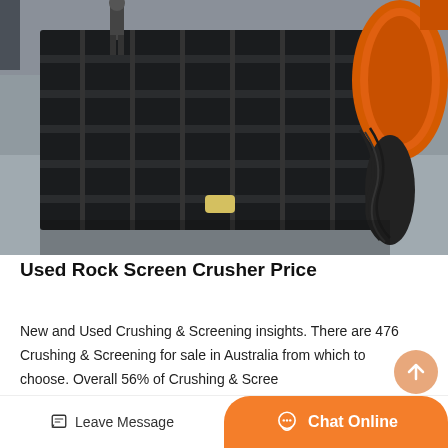[Figure (photo): Photo of a used rock screen crusher machine — a large black multi-deck vibrating screen frame on a concrete factory floor, with a large orange cylindrical drum visible at the right side and hydraulic hoses. A person stands in the background.]
Used Rock Screen Crusher Price
New and Used Crushing & Screening insights. There are 476 Crushing & Screening for sale in Australia from which to choose. Overall 56% of Crushing & Scree...